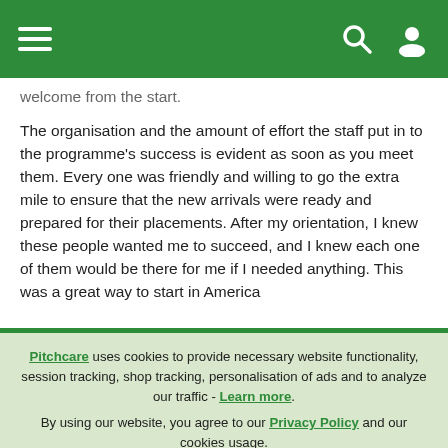Pitchcare website header with hamburger menu, search icon, and user icon
welcome from the start.
The organisation and the amount of effort the staff put in to the programme's success is evident as soon as you meet them. Every one was friendly and willing to go the extra mile to ensure that the new arrivals were ready and prepared for their placements. After my orientation, I knew these people wanted me to succeed, and I knew each one of them would be there for me if I needed anything. This was a great way to start in America
Pitchcare uses cookies to provide necessary website functionality, session tracking, shop tracking, personalisation of ads and to analyze our traffic - Learn more. By using our website, you agree to our Privacy Policy and our cookies usage.